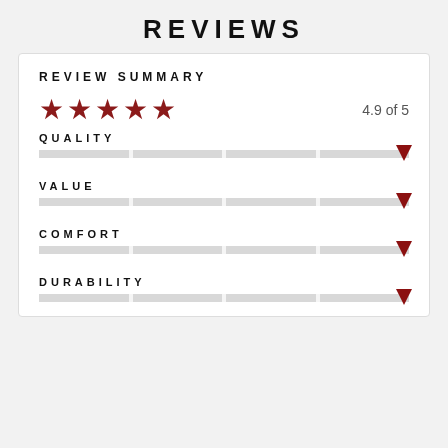REVIEWS
REVIEW SUMMARY
[Figure (infographic): 5 red stars rating display with 4.9 of 5 text]
QUALITY
[Figure (infographic): Quality rating bar near maximum with red arrow indicator]
VALUE
[Figure (infographic): Value rating bar near maximum with red arrow indicator]
COMFORT
[Figure (infographic): Comfort rating bar near maximum with red arrow indicator]
DURABILITY
[Figure (infographic): Durability rating bar near maximum with red arrow indicator]